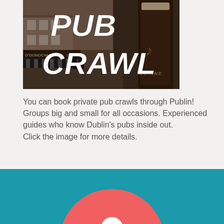[Figure (photo): Photo of a Dublin pub street scene with 'PUB CRAWL' text overlaid in large white italic bold letters, and a Guinness pint glass visible on the right.]
You can book private pub crawls through Publin! Groups big and small for all occasions. Experienced guides who know Dublin's pubs inside out.
Click the image for more details.
[Figure (illustration): Teal/blue background banner with a large salmon/red circle partially visible at the bottom, containing a white map pin or location icon shape.]